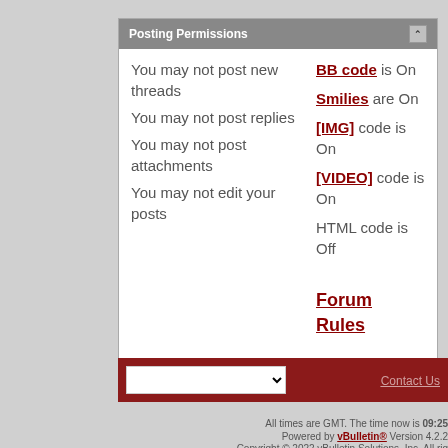Posting Permissions
|  |  |
| --- | --- |
| You may not post new threads | BB code is On |
| You may not post replies | Smilies are On |
| You may not post attachments | [IMG] code is On |
| You may not edit your posts | [VIDEO] code is On |
|  | HTML code is Off |
|  | Forum Rules |
Contact Us
All times are GMT. The time now is 09:25
Powered by vBulletin® Version 4.2.2
Copyright © 2022 vBulletin Solutions, Inc. All rights reserved.
(c) CowboyLyrics.com